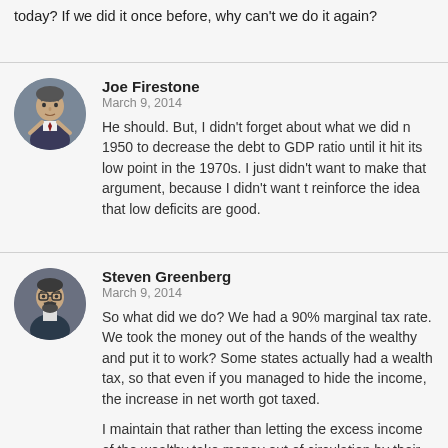today? If we did it once before, why can't we do it again?
Joe Firestone
March 9, 2014
He should. But, I didn't forget about what we did n 1950 to decrease the debt to GDP ratio until it hit its low point in the 1970s. I just didn't want to make that argument, because I didn't want t reinforce the idea that low deficits are good.
Steven Greenberg
March 9, 2014
So what did we do? We had a 90% marginal tax rate. We took the money out of the hands of the wealthy and put it to work? Some states actually had a wealth tax, so that even if you managed to hide the income, the increase in net worth got taxed.

I maintain that rather than letting the excess income of the wealthy take money out of circulation by their buying Treasury securities to make it look like the government is going into debt, we should just tax away that money